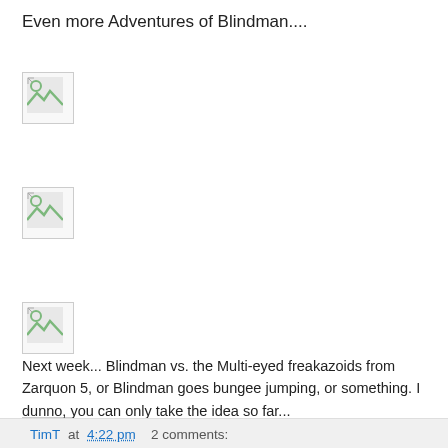Even more Adventures of Blindman....
[Figure (other): Broken image placeholder 1]
[Figure (other): Broken image placeholder 2]
[Figure (other): Broken image placeholder 3]
[Figure (other): Broken image placeholder 4]
[Figure (other): Broken image placeholder 5]
Next week... Blindman vs. the Multi-eyed freakazoids from Zarquon 5, or Blindman goes bungee jumping, or something. I dunno, you can only take the idea so far...
TimT at 4:22 pm   2 comments: